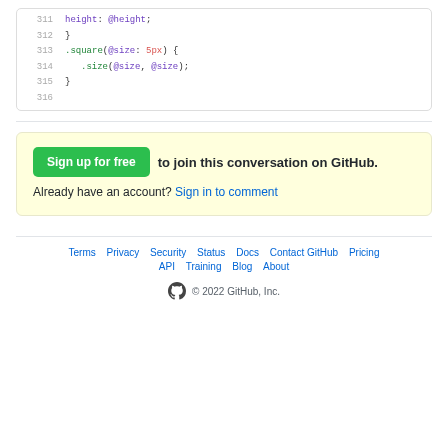[Figure (screenshot): Code block showing LESS/CSS mixin lines 311-316 with syntax highlighting]
Sign up for free to join this conversation on GitHub. Already have an account? Sign in to comment
Terms · Privacy · Security · Status · Docs · Contact GitHub · Pricing · API · Training · Blog · About · © 2022 GitHub, Inc.